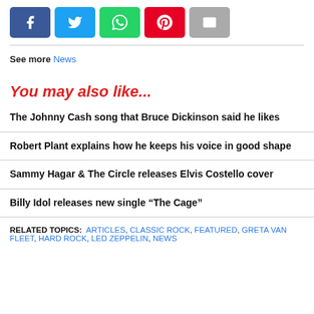[Figure (other): Social share buttons: Facebook, Twitter, WhatsApp, Pinterest, Email]
See more News
You may also like...
The Johnny Cash song that Bruce Dickinson said he likes
Robert Plant explains how he keeps his voice in good shape
Sammy Hagar & The Circle releases Elvis Costello cover
Billy Idol releases new single “The Cage”
RELATED TOPICS: ARTICLES, CLASSIC ROCK, FEATURED, GRETA VAN FLEET, HARD ROCK, LED ZEPPELIN, NEWS